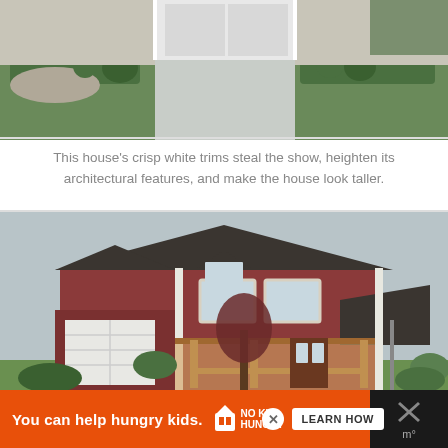[Figure (photo): Top portion of a house exterior with white trim, manicured hedges, green shrubs, rock garden landscaping, and a concrete driveway. Gray sky/overcast lighting.]
This house’s crisp white trims steal the show, heighten its architectural features, and make the house look taller.
[Figure (photo): A two-story craftsman-style house with dark gray roof, red/maroon siding, white trim accents, attached garage with white door, covered front porch with wood railings, a small ornamental tree, and green lawn. UI overlay with heart/like button (teal), 725 count badge, and share button.]
[Figure (screenshot): Orange advertisement banner at bottom reading 'You can help hungry kids.' with No Kid Hungry logo and 'LEARN HOW' button. Dark strip at bottom right with X close button and temperature icon.]